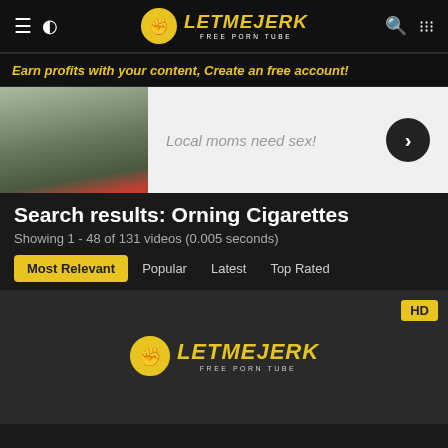LetMeJerk Free Porn Tube
Earn profits with your content, Create an free account!
[Figure (photo): Advertisement banner showing a young woman outdoors in winter, with text 'Local moms need sex!' and a right-arrow button]
Search results: Orning Cigarettes
Showing 1 - 48 of 131 videos (0.005 seconds)
Most Relevant | Popular | Latest | Top Rated
[Figure (screenshot): Video thumbnail placeholder showing LetMeJerk logo with HD badge in top right corner]